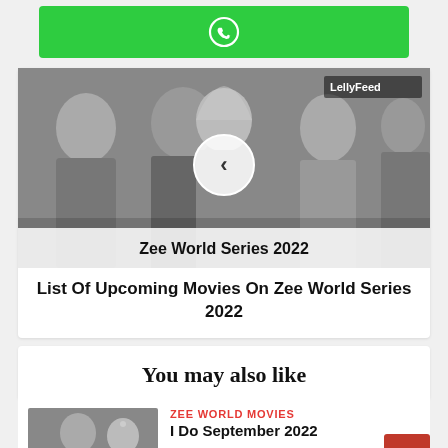[Figure (other): Green WhatsApp share button with WhatsApp icon]
[Figure (photo): Black and white collage of Indian TV drama actors with text overlay 'Zee World Series 2022' and a play/back navigation button, watermark 'LellyFeed' in top right]
List Of Upcoming Movies On Zee World Series 2022
You may also like
[Figure (photo): Thumbnail image of Indian TV show actors for 'I Do September 2022']
ZEE WORLD MOVIES
I Do September 2022